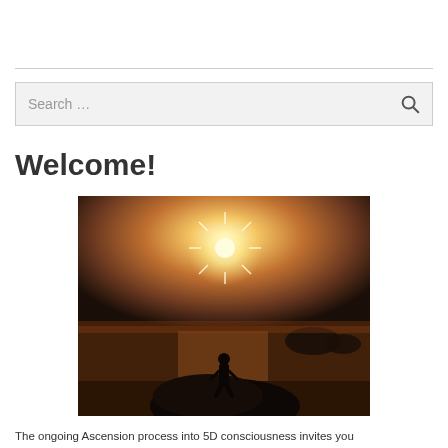[Figure (other): Horizontal rule / divider line across the page]
[Figure (screenshot): Search bar with 'Search ...' placeholder text and a magnifying glass icon on the right, on a light gray background]
Welcome!
[Figure (photo): A silhouette of a person standing on a rocky outcrop overlooking water, with a bright starburst sun above them against a warm orange and dark sky. Islands visible in the background.]
The ongoing Ascension process into 5D consciousness invites you